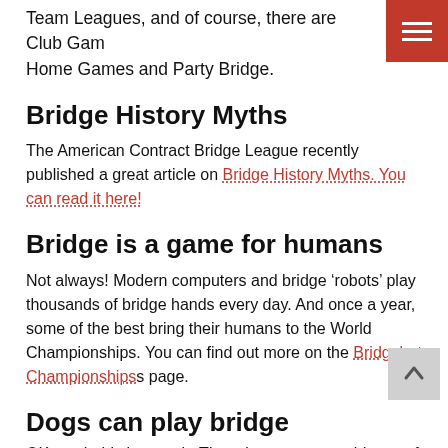Team Leagues, and of course, there are Club Games, Home Games and Party Bridge.
[Figure (other): Red hamburger menu button with three white horizontal lines]
Bridge History Myths
The American Contract Bridge League recently published a great article on Bridge History Myths. You can read it here!
Bridge is a game for humans
Not always! Modern computers and bridge ‘robots’ play thousands of bridge hands every day. And once a year, some of the best bring their humans to the World Championships. You can find out more on the Bridgebot Championships page.
Dogs can play bridge
OK, yeah this is a myth. There is no proven evidence of a
[Figure (other): Grey back-to-top button with upward arrow]